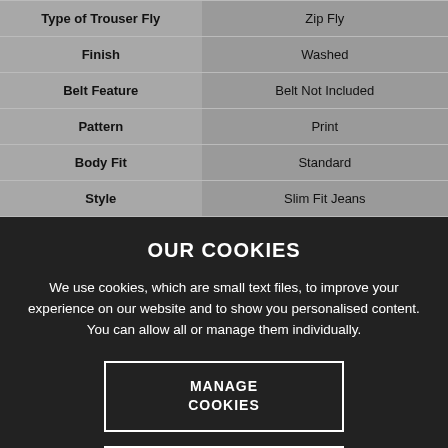| Attribute | Value |
| --- | --- |
| Type of Trouser Fly | Zip Fly |
| Finish | Washed |
| Belt Feature | Belt Not Included |
| Pattern | Print |
| Body Fit | Standard |
| Style | Slim Fit Jeans |
OUR COOKIES
We use cookies, which are small text files, to improve your experience on our website and to show you personalised content. You can allow all or manage them individually.
MANAGE COOKIES
ALLOW ALL